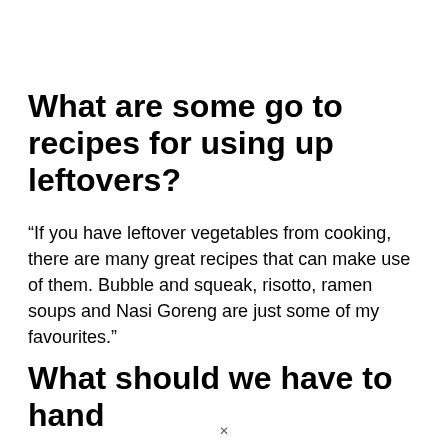What are some go to recipes for using up leftovers?
“If you have leftover vegetables from cooking, there are many great recipes that can make use of them. Bubble and squeak, risotto, ramen soups and Nasi Goreng are just some of my favourites.”
What should we have to hand